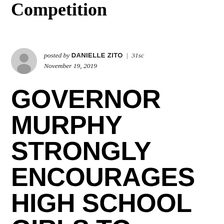Competition
posted by DANIELLE ZITO | 31sc
November 19, 2019
GOVERNOR MURPHY STRONGLY ENCOURAGES HIGH SCHOOL GIRLS TO PARTICIPATE IN UPCOMING 2020